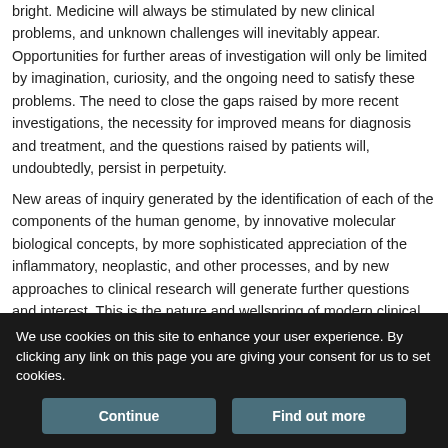bright. Medicine will always be stimulated by new clinical problems, and unknown challenges will inevitably appear. Opportunities for further areas of investigation will only be limited by imagination, curiosity, and the ongoing need to satisfy these problems. The need to close the gaps raised by more recent investigations, the necessity for improved means for diagnosis and treatment, and the questions raised by patients will, undoubtedly, persist in perpetuity.
New areas of inquiry generated by the identification of each of the components of the human genome, by innovative molecular biological concepts, by more sophisticated appreciation of the inflammatory, neoplastic, and other processes, and by new approaches to clinical research will generate further questions and interest. This is the nature and wellspring of modern clinical
We use cookies on this site to enhance your user experience. By clicking any link on this page you are giving your consent for us to set cookies.